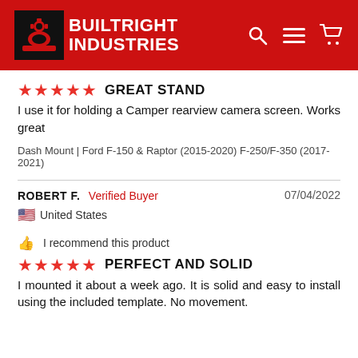[Figure (logo): BuiltRight Industries logo with red background, gear/machinery icon and white bold text]
★★★★★  GREAT STAND
I use it for holding a Camper rearview camera screen. Works great
Dash Mount | Ford F-150 & Raptor (2015-2020) F-250/F-350 (2017-2021)
ROBERT F.  Verified Buyer   07/04/2022
🇺🇸 United States
👍 I recommend this product
★★★★★  PERFECT AND SOLID
I mounted it about a week ago. It is solid and easy to install using the included template. No movement.